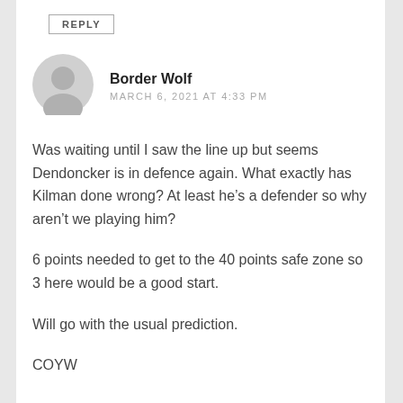REPLY
Border Wolf
MARCH 6, 2021 AT 4:33 PM
Was waiting until I saw the line up but seems Dendoncker is in defence again. What exactly has Kilman done wrong? At least he’s a defender so why aren’t we playing him?
6 points needed to get to the 40 points safe zone so 3 here would be a good start.
Will go with the usual prediction.
COYW